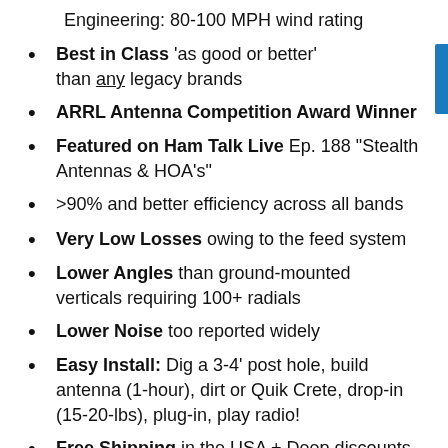Engineering: 80-100 MPH wind rating
Best in Class 'as good or better' than any legacy brands
ARRL Antenna Competition Award Winner
Featured on Ham Talk Live Ep. 188 "Stealth Antennas & HOA's"
>90% and better efficiency across all bands
Very Low Losses owing to the feed system
Lower Angles than ground-mounted verticals requiring 100+ radials
Lower Noise too reported widely
Easy Install: Dig a 3-4' post hole, build antenna (1-hour), dirt or Quik Crete, drop-in (15-20-lbs), plug-in, play radio!
Free Shipping in the USA + Deep discounts Worldwide
Shipping time: See our Order-Status Page for